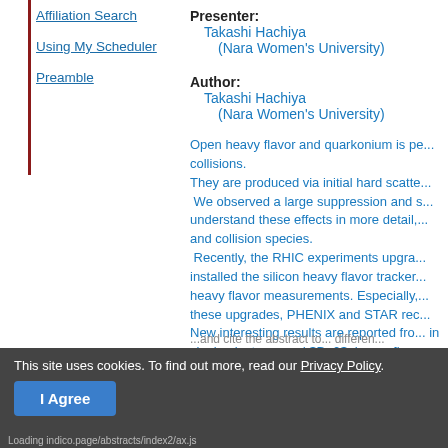Affiliation Search
Using My Scheduler
Preamble
Presenter: Takashi Hachiya (Nara Women's University)
Author: Takashi Hachiya (Nara Women's University)
Open heavy flavor and quarkonium is pe... collisions. They are produced via initial hard scatte...  We observed a large suppression and s... understand these effects in more detail, ... and collision species.  Recently, the RHIC experiments upgra... installed the silicon heavy flavor tracker... heavy flavor measurements. Especially,... these upgrades, PHENIX and STAR rec... New interesting results are reported fro... in single electrons and $D_0$, heavy fla... In this talk, the recent measurements s... ...and cite the abstract to... differen...
This site uses cookies. To find out more, read our Privacy Policy.
I Agree